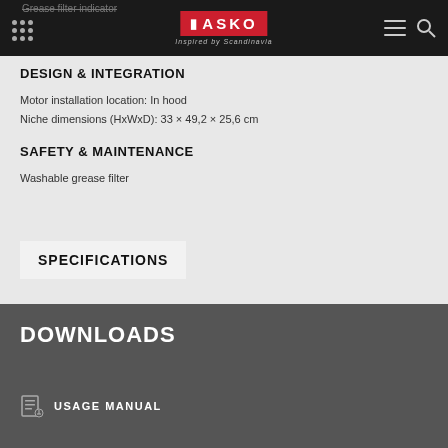Grease filter indicator
DESIGN & INTEGRATION
Motor installation location: In hood
Niche dimensions (HxWxD): 33 × 49,2 × 25,6 cm
SAFETY & MAINTENANCE
Washable grease filter
SPECIFICATIONS
DOWNLOADS
USAGE MANUAL